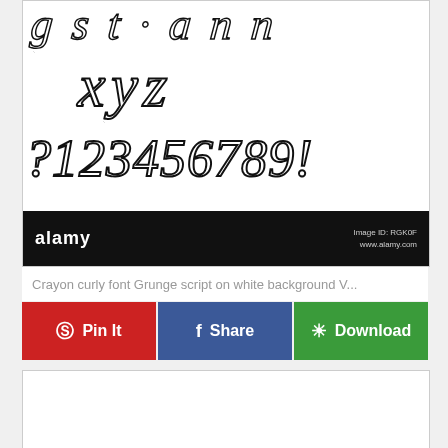[Figure (illustration): Crayon curly grunge script font sample showing letters xyz and numbers ?123456789! on white background, with Alamy watermark bar at bottom]
Crayon curly font Grunge script on white background V...
Pin It
Share
Download
[Figure (illustration): Second image preview area, partially visible]